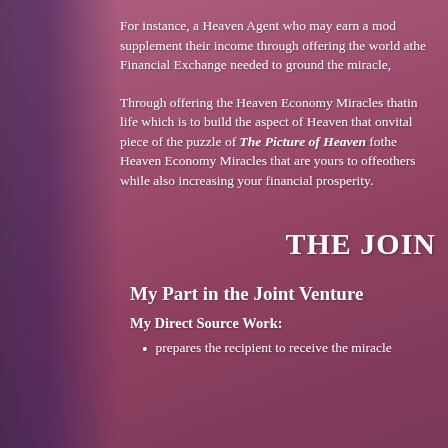For instance, a Heaven Agent who may earn a mod... supplement their income through offering the world a... the Financial Exchange needed to ground the miracle,
Through offering the Heaven Economy Miracles that ... in life which is to build the aspect of Heaven that on... vital piece of the puzzle of The Picture of Heaven fo... the Heaven Economy Miracles that are yours to offe... others while also increasing your financial prosperity.
The Join
My Part in the Joint Venture
My Direct Source Work:
prepares the recipient to receive the miracle